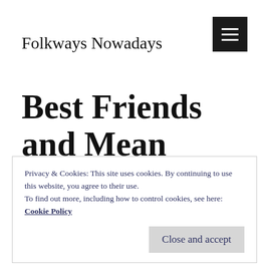Folkways Nowadays
Best Friends and Mean Girls
Privacy & Cookies: This site uses cookies. By continuing to use this website, you agree to their use.
To find out more, including how to control cookies, see here: Cookie Policy
Close and accept